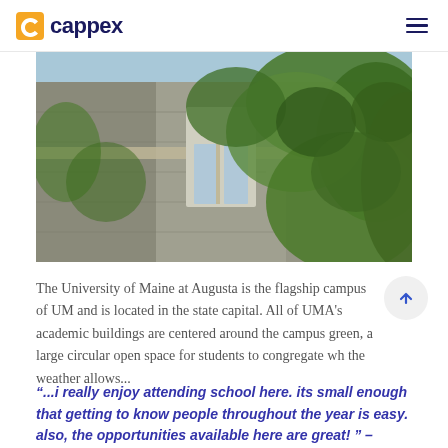cappex
[Figure (photo): Upward-angle photo of a stone university building covered in green ivy, with Gothic-style arched windows visible against a light blue sky.]
The University of Maine at Augusta is the flagship campus of UM and is located in the state capital. All of UMA's academic buildings are centered around the campus green, a large circular open space for students to congregate wh the weather allows...
“...i really enjoy attending school here. its small enough that getting to know people throughout the year is easy. also, the opportunities available here are great! ” –